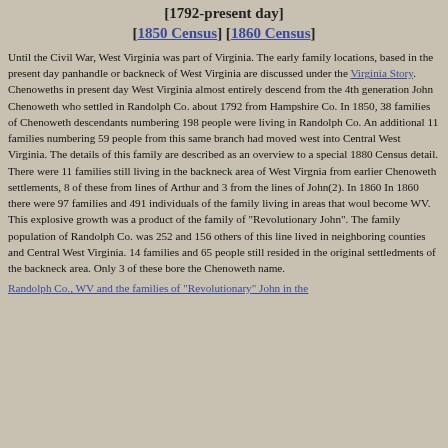[1792-present day] [1850 Census] [1860 Census]
Until the Civil War, West Virginia was part of Virginia. The early family locations, based in the present day panhandle or backneck of West Virginia are discussed under the Virginia Story. Chenoweths in present day West Virginia almost entirely descend from the 4th generation John Chenoweth who settled in Randolph Co. about 1792 from Hampshire Co. In 1850, 38 families of Chenoweth descendants numbering 198 people were living in Randolph Co. An additional 11 families numbering 59 people from this same branch had moved west into Central West Virginia. The details of this family are described as an overview to a special 1880 Census detail. There were 11 families still living in the backneck area of West Virgnia from earlier Chenoweth settlements, 8 of these from lines of Arthur and 3 from the lines of John(2). In 1860 In 1860 there were 97 families and 491 individuals of the family living in areas that woul become WV. This explosive growth was a product of the family of "Revolutionary John". The family population of Randolph Co. was 252 and 156 others of this line lived in neighboring counties and Central West Virginia. 14 families and 65 people still resided in the original settledments of the backneck area. Only 3 of these bore the Chenoweth name.
Randolph Co., WV and the families of "Revolutionary" John in the